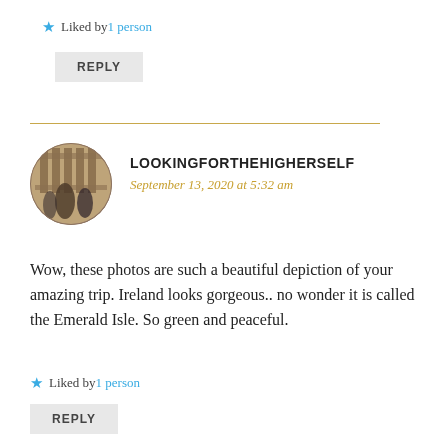★ Liked by 1 person
REPLY
[Figure (photo): Circular avatar photo with vintage/sepia toned image of people near classical columns]
LOOKINGFORTHEHIGHERSELF
September 13, 2020 at 5:32 am
Wow, these photos are such a beautiful depiction of your amazing trip. Ireland looks gorgeous.. no wonder it is called the Emerald Isle. So green and peaceful.
★ Liked by 1 person
REPLY